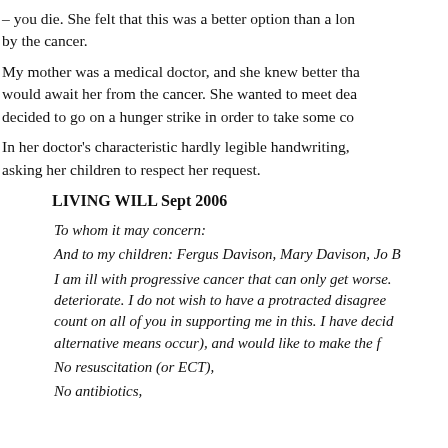– you die. She felt that this was a better option than a lon by the cancer.
My mother was a medical doctor, and she knew better tha would await her from the cancer. She wanted to meet dea decided to go on a hunger strike in order to take some co
In her doctor's characteristic hardly legible handwriting, asking her children to respect her request.
LIVING WILL Sept 2006
To whom it may concern:
And to my children: Fergus Davison, Mary Davison, Jo B
I am ill with progressive cancer that can only get worse. deteriorate. I do not wish to have a protracted disagree count on all of you in supporting me in this. I have decid alternative means occur), and would like to make the f
No resuscitation (or ECT),
No antibiotics,